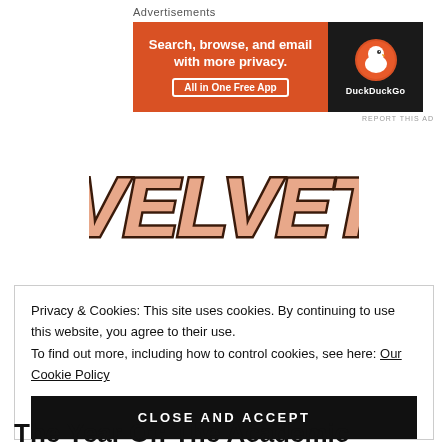Advertisements
[Figure (illustration): DuckDuckGo advertisement banner: orange background with text 'Search, browse, and email with more privacy. All in One Free App' and DuckDuckGo logo on dark background]
REPORT THIS AD
[Figure (logo): VELVET text logo in large bold letters with salmon/peach fill and dark brown outline/shadow]
Privacy & Cookies: This site uses cookies. By continuing to use this website, you agree to their use. To find out more, including how to control cookies, see here: Our Cookie Policy
CLOSE AND ACCEPT
The Year Of: The Academic